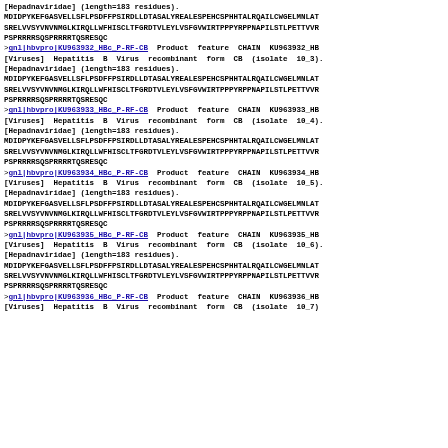[Hepadnaviridae] (length=183 residues).
MDIDPYKEFGASVELLSFLPSDFFPSIRDLLDTASALYREALESPEHCSPHHTALRQAILCWGELMNLATSRELVVSYVNVNMGLKIRQLLWFHISCLTFGRDTVLEYLVSFGVWIRTPPPYRPPNAPILSTLPETTVVRPSPRRRRSQSPRRRRTQSRESQC
>gnl|hbvpro|KU963932_HBc_P-RF-CB  Product feature CHAIN KU963932_HB [Viruses] Hepatitis B Virus recombinant form CB (isolate 10_3). [Hepadnaviridae] (length=183 residues).
MDIDPYKEFGASVELLSFLPSDFFPSIRDLLDTASALYREALESPEHCSPHHTALRQAILCWGELMNLATSRELVVSYVNVNMGLKIRQLLWFHISCLTFGRDTVLEYLVSFGVWIRTPPPYRPPNAPILSTLPETTVVRPSPRRRRSQSPRRRRTQSRESQC
>gnl|hbvpro|KU963933_HBc_P-RF-CB  Product feature CHAIN KU963933_HB [Viruses] Hepatitis B Virus recombinant form CB (isolate 10_4). [Hepadnaviridae] (length=183 residues).
MDIDPYKEFGASVELLSFLPSDFFPSIRDLLDTASALYREALESPEHCSPHHTALRQAILCWGELMNLATSRELVVSYVNVNMGLKIRQLLWFHISCLTFGRDTVLEYLVSFGVWIRTPPPYRPPNAPILSTLPETTVVRPSPRRRRSQSPRRRRTQSRESQC
>gnl|hbvpro|KU963934_HBc_P-RF-CB  Product feature CHAIN KU963934_HB [Viruses] Hepatitis B Virus recombinant form CB (isolate 10_5). [Hepadnaviridae] (length=183 residues).
MDIDPYKEFGASVELLSFLPSDFFPSIRDLLDTASALYREALESPEHCSPHHTALRQAILCWGELMNLATSRELVVSYVNVNMGLKIRQLLWFHISCLTFGRDTVLEYLVSFGVWIRTPPPYRPPNAPILSTLPETTVVRPSPRRRRSQSPRRRRTQSRESQC
>gnl|hbvpro|KU963935_HBc_P-RF-CB  Product feature CHAIN KU963935_HB [Viruses] Hepatitis B Virus recombinant form CB (isolate 10_6). [Hepadnaviridae] (length=183 residues).
MDIDPYKEFGASVELLSFLPSDFFPSIRDLLDTASALYREALESPEHCSPHHTALRQAILCWGELMNLATSRELVVSYVNVNMGLKIRQLLWFHISCLTFGRDTVLEYLVSFGVWIRTPPPYRPPNAPILSTLPETTVVRPSPRRRRSQSPRRRRTQSRESQC
>gnl|hbvpro|KU963936_HBc_P-RF-CB  Product feature CHAIN KU963936_HB [Viruses] Hepatitis B Virus recombinant form CB (isolate 10_7)